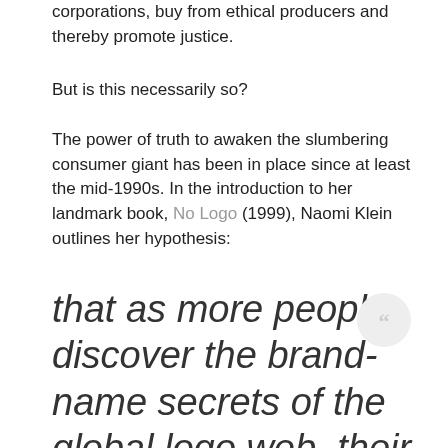corporations, buy from ethical producers and thereby promote justice.
But is this necessarily so?
The power of truth to awaken the slumbering consumer giant has been in place since at least the mid-1990s. In the introduction to her landmark book, No Logo (1999), Naomi Klein outlines her hypothesis:
that as more people discover the brand-name secrets of the global logo web, their outrage will fuel the next big political…